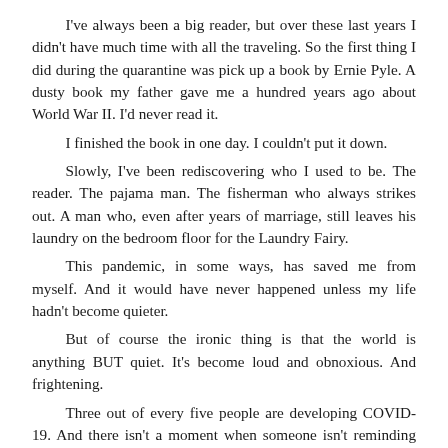I've always been a big reader, but over these last years I didn't have much time with all the traveling. So the first thing I did during the quarantine was pick up a book by Ernie Pyle. A dusty book my father gave me a hundred years ago about World War II. I'd never read it.
I finished the book in one day. I couldn't put it down.
Slowly, I've been rediscovering who I used to be. The reader. The pajama man. The fisherman who always strikes out. A man who, even after years of marriage, still leaves his laundry on the bedroom floor for the Laundry Fairy.
This pandemic, in some ways, has saved me from myself. And it would have never happened unless my life hadn't become quieter.
But of course the ironic thing is that the world is anything BUT quiet. It's become loud and obnoxious. And frightening.
Three out of every five people are developing COVID-19. And there isn't a moment when someone isn't reminding you that, statistically, the leading cause of death in the U.S. is The